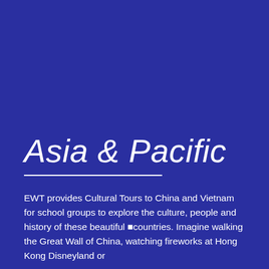Asia & Pacific
EWT provides Cultural Tours to China and Vietnam for school groups to explore the culture, people and history of these beautiful ■countries. Imagine walking the Great Wall of China, watching fireworks at Hong Kong Disneyland or